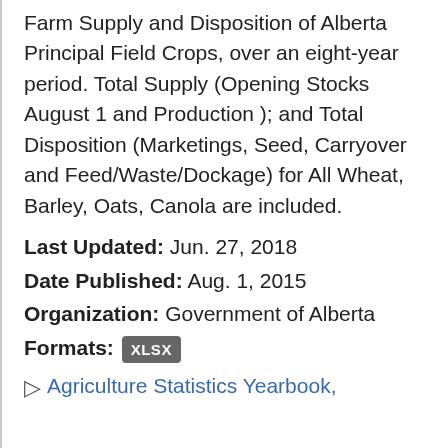Farm Supply and Disposition of Alberta Principal Field Crops, over an eight-year period. Total Supply (Opening Stocks August 1 and Production ); and Total Disposition (Marketings, Seed, Carryover and Feed/Waste/Dockage) for All Wheat, Barley, Oats, Canola are included.
Last Updated: Jun. 27, 2018
Date Published: Aug. 1, 2015
Organization: Government of Alberta
Formats: XLSX
Agriculture Statistics Yearbook,